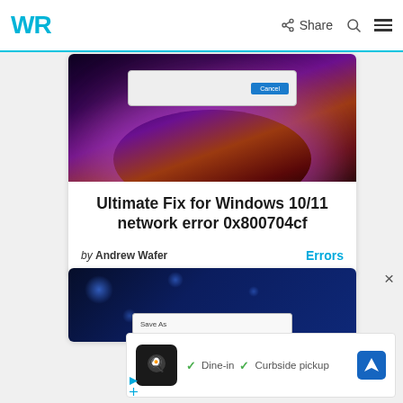WR  Share
[Figure (screenshot): Windows 11 styled dialog box on dark purple/red gradient background with glowing ring]
Ultimate Fix for Windows 10/11 network error 0x800704cf
by Andrew Wafer  Errors
[Figure (screenshot): Save As dialog on dark blue bokeh background]
[Figure (infographic): Advertisement: restaurant with Dine-in and Curbside pickup options]
Dine-in  Curbside pickup